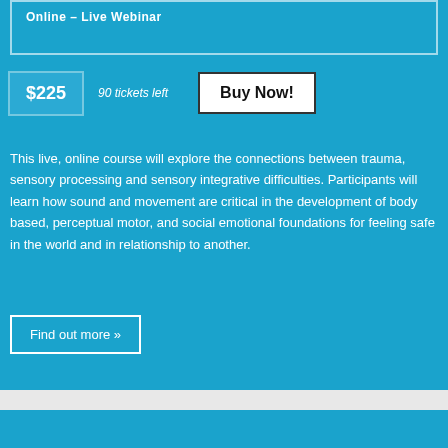Online – Live Webinar
$225   90 tickets left
Buy Now!
This live, online course will explore the connections between trauma, sensory processing and sensory integrative difficulties. Participants will learn how sound and movement are critical in the development of body based, perceptual motor, and social emotional foundations for feeling safe in the world and in relationship to another.
Find out more »